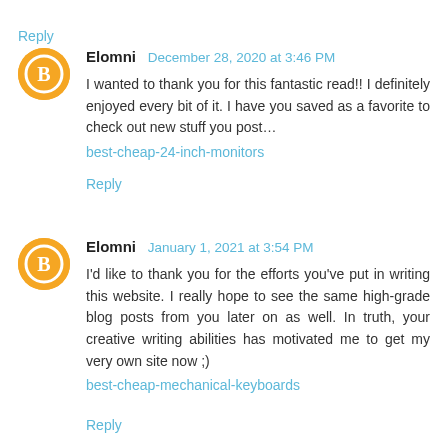Reply
Elomni  December 28, 2020 at 3:46 PM
I wanted to thank you for this fantastic read!! I definitely enjoyed every bit of it. I have you saved as a favorite to check out new stuff you post…
best-cheap-24-inch-monitors
Reply
Elomni  January 1, 2021 at 3:54 PM
I'd like to thank you for the efforts you've put in writing this website. I really hope to see the same high-grade blog posts from you later on as well. In truth, your creative writing abilities has motivated me to get my very own site now ;)
best-cheap-mechanical-keyboards
Reply